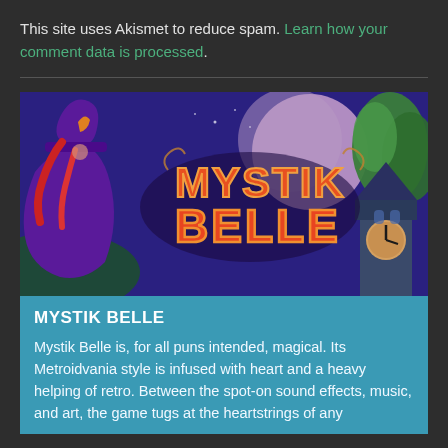This site uses Akismet to reduce spam. Learn how your comment data is processed.
[Figure (illustration): Mystik Belle game promotional banner showing a witch character with a purple hat and red hair on the left, a large stylized logo reading 'MYSTIK BELLE' in the center, a large pink moon in the background, green trees on the right, and a clock tower in the lower right corner. Purple/blue night sky background.]
MYSTIK BELLE
Mystik Belle is, for all puns intended, magical. Its Metroidvania style is infused with heart and a heavy helping of retro. Between the spot-on sound effects, music, and art, the game tugs at the heartstrings of any